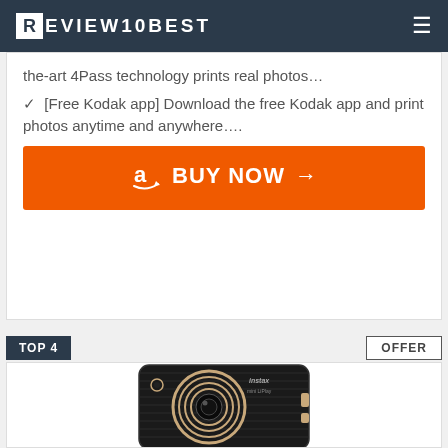REVIEW10BEST
the-art 4Pass technology prints real photos…
✓  [Free Kodak app] Download the free Kodak app and print photos anytime and anywhere….
BUY NOW →
TOP 4
OFFER
[Figure (photo): Fujifilm Instax Mini LiPlay instant camera in dark/black color with gold accent ring around lens, shown in portrait orientation]